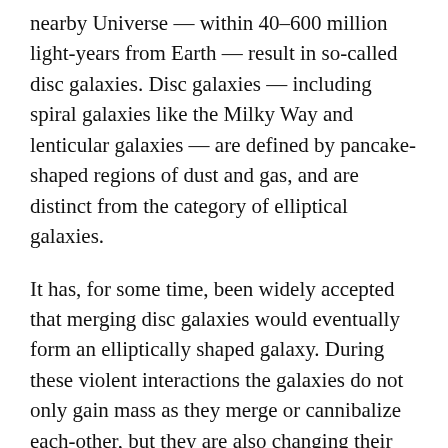nearby Universe — within 40–600 million light-years from Earth — result in so-called disc galaxies. Disc galaxies — including spiral galaxies like the Milky Way and lenticular galaxies — are defined by pancake-shaped regions of dust and gas, and are distinct from the category of elliptical galaxies.
It has, for some time, been widely accepted that merging disc galaxies would eventually form an elliptically shaped galaxy. During these violent interactions the galaxies do not only gain mass as they merge or cannibalize each-other, but they are also changing their shape throughout cosmic time, and therefore changing type along the way.
Computer simulations from the 1970s predicted that mergers between two comparable disc galaxies would result in an elliptical galaxy. The